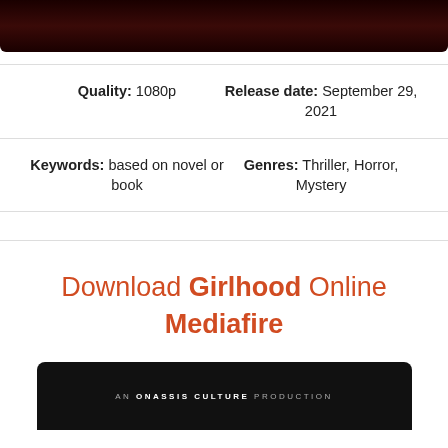[Figure (photo): Dark reddish-black movie still image at top of page]
Quality: 1080p
Release date: September 29, 2021
Keywords: based on novel or book
Genres: Thriller, Horror, Mystery
Download Girlhood Online Mediafire
[Figure (photo): Black movie production card reading AN ONASSIS CULTURE PRODUCTION]